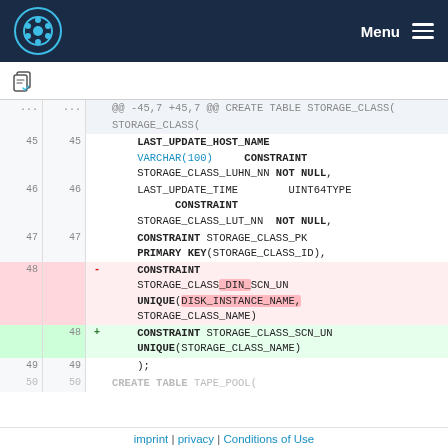Menu
[Figure (screenshot): Toolbar with clipboard/copy icon]
@@ -45,7 +45,7 @@ CREATE TABLE STORAGE_CLASS(
45 45   LAST_UPDATE_HOST_NAME VARCHAR(100) CONSTRAINT STORAGE_CLASS_LUHN_NN NOT NULL,
46 46   LAST_UPDATE_TIME UINT64TYPE CONSTRAINT STORAGE_CLASS_LUT_NN NOT NULL,
47 47   CONSTRAINT STORAGE_CLASS_PK PRIMARY KEY(STORAGE_CLASS_ID),
48 -   CONSTRAINT STORAGE_CLASS_DIN_SCN_UN UNIQUE(DISK_INSTANCE_NAME, STORAGE_CLASS_NAME)
48 +   CONSTRAINT STORAGE_CLASS_SCN_UN UNIQUE(STORAGE_CLASS_NAME)
49 49   );
50 50   CREATE TABLE TAPE_POOL(
imprint | privacy | Conditions of Use